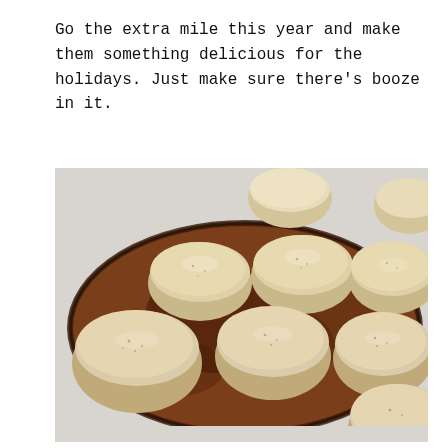Go the extra mile this year and make them something delicious for the holidays. Just make sure there's booze in it.
[Figure (photo): Round cream-colored chocolates or confections arranged on a rustic live-edge wooden board, photographed from above at a slight angle against a light gray background.]